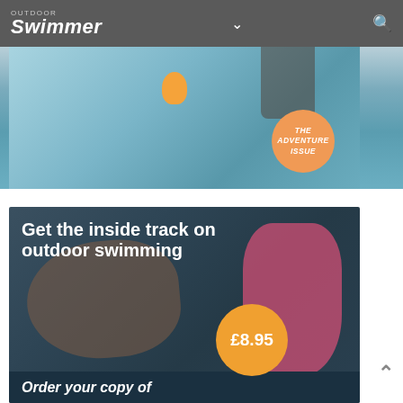Outdoor Swimmer
[Figure (photo): Partial magazine cover showing outdoor swimmers in water with an orange swim buoy. An orange circular badge reads 'THE ADVENTURE ISSUE' in white italic text.]
[Figure (photo): Advertisement for Outdoor Swimmer magazine showing two swimmers in dark water. Bold white text reads 'Get the inside track on outdoor swimming'. An orange circular badge shows '£8.95'. A dark banner at the bottom begins 'Order your copy of'.]